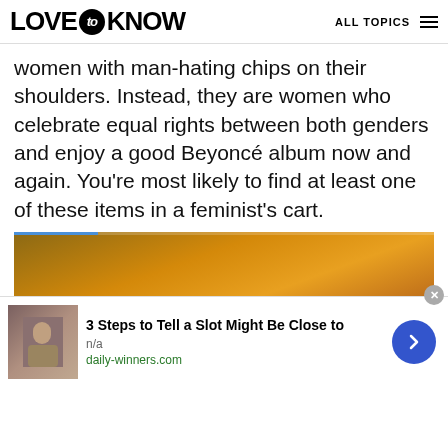LOVE to KNOW | ALL TOPICS
women with man-hating chips on their shoulders. Instead, they are women who celebrate equal rights between both genders and enjoy a good Beyoncé album now and again. You're most likely to find at least one of these items in a feminist's cart.
[Figure (photo): Video thumbnail showing a mason jar with orange juice and a green straw, with a peach or mango beside it. Overlay shows LoveToKnow logo and 'Discover More' label.]
[Figure (screenshot): Advertisement banner: '3 Steps to Tell a Slot Might Be Close to' from daily-winners.com with a small image of a person and a blue arrow button.]